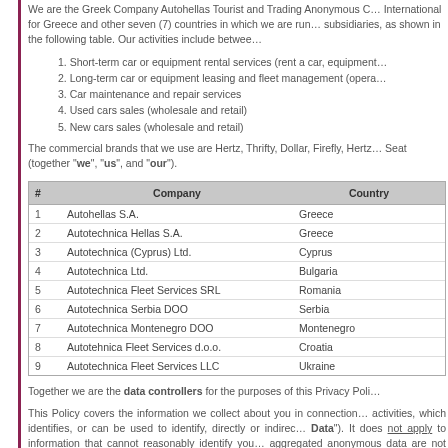We are the Greek Company Autohellas Tourist and Trading Anonymous Company, the Franchisee of Hertz International for Greece and other seven (7) countries in which we are running our operations through subsidiaries, as shown in the following table. Our activities include between others:
Short-term car or equipment rental services (rent a car, equipment...)
Long-term car or equipment leasing and fleet management (opera...)
Car maintenance and repair services
Used cars sales (wholesale and retail)
New cars sales (wholesale and retail)
The commercial brands that we use are Hertz, Thrifty, Dollar, Firefly, Hertz... Seat (together "we", "us", and "our").
| # | Company | Country |
| --- | --- | --- |
| 1 | Autohellas S.A. | Greece |
| 2 | Autotechnica Hellas S.A. | Greece |
| 3 | Autotechnica (Cyprus) Ltd. | Cyprus |
| 4 | Autotechnica Ltd. | Bulgaria |
| 5 | Autotechnica Fleet Services SRL | Romania |
| 6 | Autotechnica Serbia DOO | Serbia |
| 7 | Autotechnica Montenegro DOO | Montenegro |
| 8 | Autotehnica Fleet Services d.o.o. | Croatia |
| 9 | Autotechnica Fleet Services LLC | Ukraine |
Together we are the data controllers for the purposes of this Privacy Poli...
This Policy covers the information we collect about you in connection... activities, which identifies, or can be used to identify, directly or indirec... Data"). It does not apply to information that cannot reasonably identify you... aggregated anonymous data are not Personal Data.